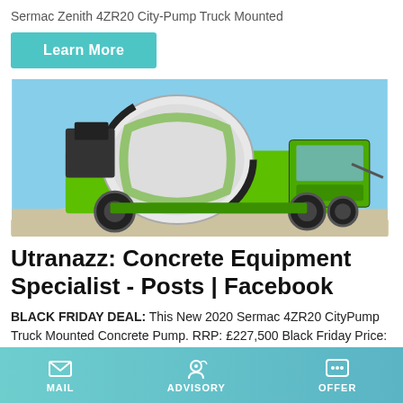Sermac Zenith 4ZR20 City-Pump Truck Mounted
Learn More
[Figure (photo): Green Sermac self-loading concrete mixer truck with a large rotating drum, parked on gravel/dust, blue sky background.]
Utranazz: Concrete Equipment Specialist - Posts | Facebook
BLACK FRIDAY DEAL: This New 2020 Sermac 4ZR20 CityPump Truck Mounted Concrete Pump. RRP: £227,500 Black Friday Price: £215,000 Saving of £12,500! Don't miss
MAIL   ADVISORY   OFFER